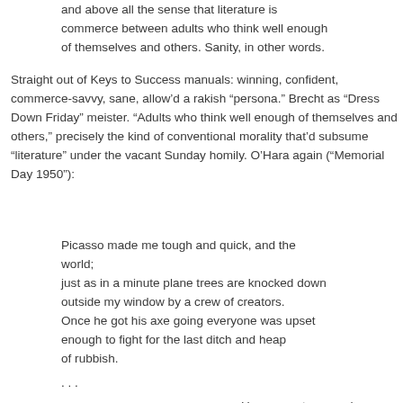and above all the sense that literature is commerce between adults who think well enough of themselves and others. Sanity, in other words.
Straight out of Keys to Success manuals: winning, confident, commerce-savvy, sane, allow’d a rakish “persona.” Brecht as “Dress Down Friday” meister. “Adults who think well enough of themselves and others,” precisely the kind of conventional morality that’d subsume “literature” under the vacant Sunday homily. O’Hara again (“Memorial Day 1950”):
Picasso made me tough and quick, and the world;
just as in a minute plane trees are knocked down outside my window by a crew of creators.
Once he got his axe going everyone was upset enough to fight for the last ditch and heap of rubbish.

. . .

                                    How many trees and frying pans
I loved and lost! Guernica hollered look out!
but we were all busy hoping our eyes were